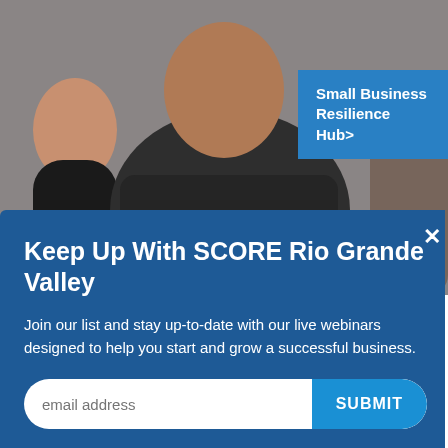[Figure (photo): Photo of a person in a dark t-shirt, partially visible, with another person in the background left. Blue 'Small Business Resilience Hub>' button overlaid top-right.]
Keep Up With SCORE Rio Grande Valley
Join our list and stay up-to-date with our live webinars designed to help you start and grow a successful business.
KEY TOPICS
Strategy & Planning
Disaster Recovery